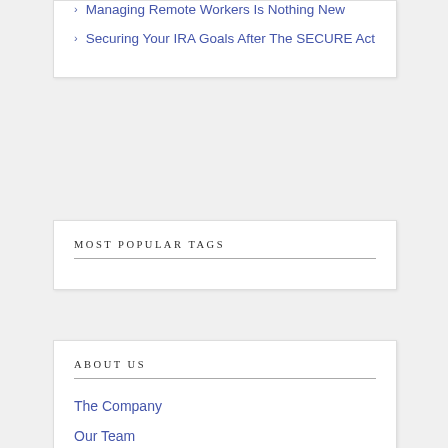Managing Remote Workers Is Nothing New
Securing Your IRA Goals After The SECURE Act
MOST POPULAR TAGS
ABOUT US
The Company
Our Team
Careers